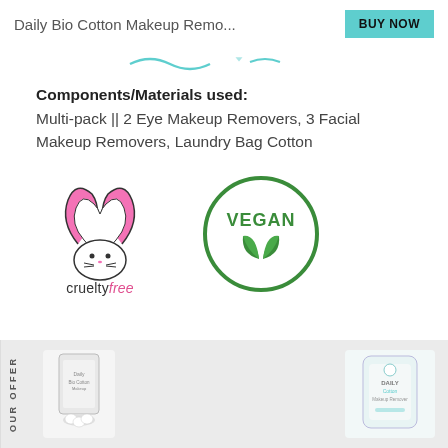Daily Bio Cotton Makeup Remo...
Components/Materials used:
Multi-pack || 2 Eye Makeup Removers, 3 Facial Makeup Removers, Laundry Bag Cotton
[Figure (logo): Cruelty free bunny logo with pink heart ears and text 'cruelty free' below]
[Figure (logo): Vegan certification badge - green circle with leaf design and VEGAN text]
OUR OFFER
[Figure (photo): Product image of Daily Bio Cotton Makeup Remover pack]
[Figure (photo): Product image of Daily Cotton Makeup Remover bag]